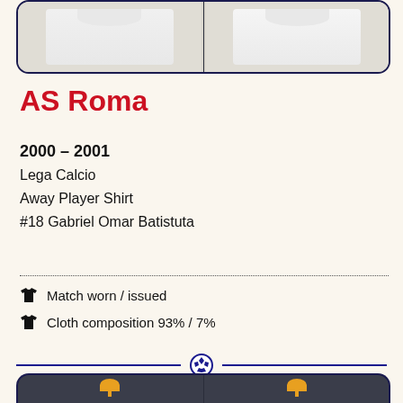[Figure (photo): Two photos of a white away football shirt laid flat, shown side by side in a rounded rectangle frame with dark border]
AS Roma
2000–2001
Lega Calcio
Away Player Shirt
#18 Gabriel Omar Batistuta
Match worn / issued
Cloth composition 93% / 7%
[Figure (photo): Two photos of a dark navy away football shirt on yellow hangers, shown side by side in a rounded rectangle frame with dark border, partially visible at bottom of page]